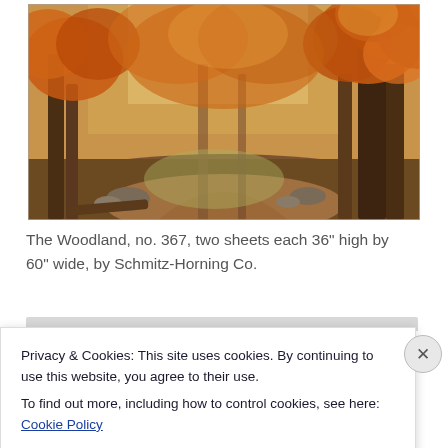[Figure (illustration): Painting of an autumn woodland scene with tall trees displaying orange and red fall foliage, a forest path with dappled light, rocks and fallen logs on the ground.]
The Woodland, no. 367, two sheets each 36" high by 60" wide, by Schmitz-Horning Co.
Privacy & Cookies: This site uses cookies. By continuing to use this website, you agree to their use.
To find out more, including how to control cookies, see here: Cookie Policy